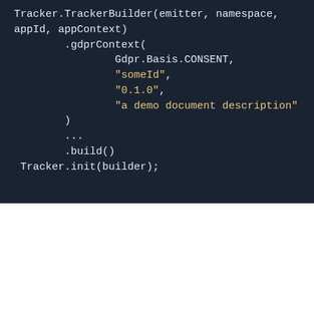[Figure (screenshot): Dark-themed code block showing Tracker.TrackerBuilder builder pattern with gdprContext call and Tracker.init]
At Snowplow we value your privacy. We use cookies to track how our users are browsing and engaging with our website to understand and improve the user experience. You can find out more about how we use first- and third-party cookies and update your preferences by clicking cookie settings. Click accept to continue.